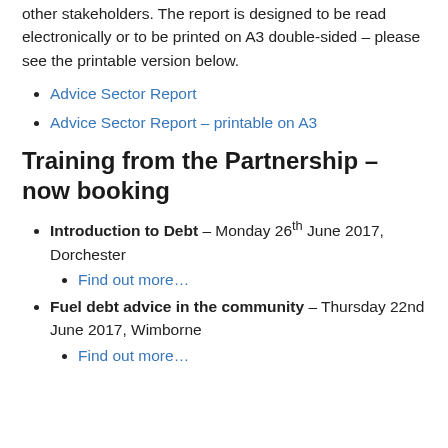other stakeholders. The report is designed to be read electronically or to be printed on A3 double-sided – please see the printable version below.
Advice Sector Report
Advice Sector Report – printable on A3
Training from the Partnership – now booking
Introduction to Debt – Monday 26th June 2017, Dorchester
Find out more…
Fuel debt advice in the community – Thursday 22nd June 2017, Wimborne
Find out more…